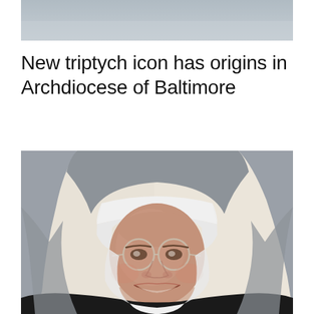[Figure (photo): Partial top image — cropped photo visible at top of page, appears to be a continuation of a photo above]
New triptych icon has origins in Archdiocese of Baltimore
[Figure (photo): Portrait photo of a smiling nun wearing a grey and white habit and glasses, photographed against a light beige/cream wall background. She is wearing a dark (black) religious habit with white collar details.]